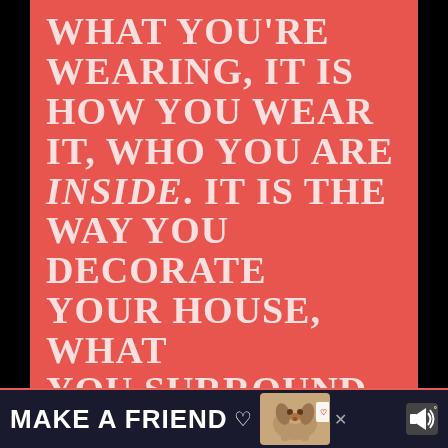WHAT YOU'RE WEARING, IT IS HOW YOU WEAR IT, WHO YOU ARE INSIDE. IT IS THE WAY YOU DECORATE YOUR HOUSE, WHAT YOU SURROUND YOURSELF WITH, WHAT BOOKS YOU READ AND WHAT YOUR INTERESTS ARE."
[Figure (infographic): Advertisement banner at bottom: dark navy background with 'MAKE A FRIEND' text, a heart emoji, a basset hound dog photo, a close button, and speaker icon.]